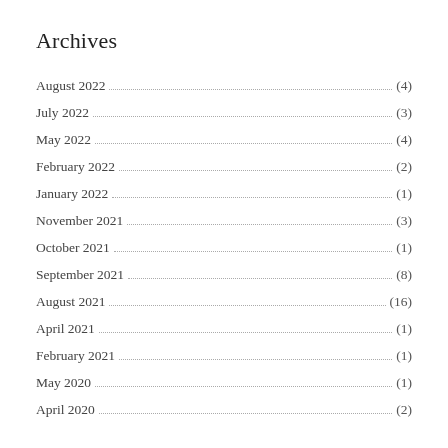Archives
August 2022 (4)
July 2022 (3)
May 2022 (4)
February 2022 (2)
January 2022 (1)
November 2021 (3)
October 2021 (1)
September 2021 (8)
August 2021 (16)
April 2021 (1)
February 2021 (1)
May 2020 (1)
April 2020 (2)